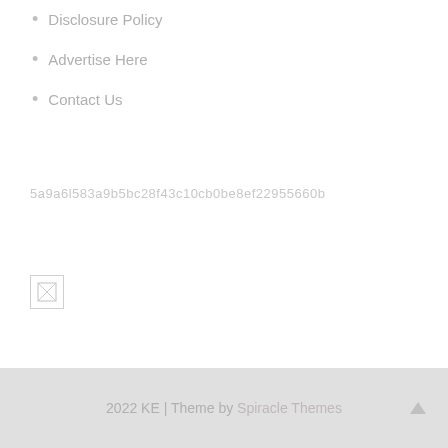Disclosure Policy
Advertise Here
Contact Us
5a9a6l583a9b5bc28f43c10cb0be8ef22955660b
[Figure (other): Small icon/image placeholder box]
2022 KE | Theme by Spiracle Themes